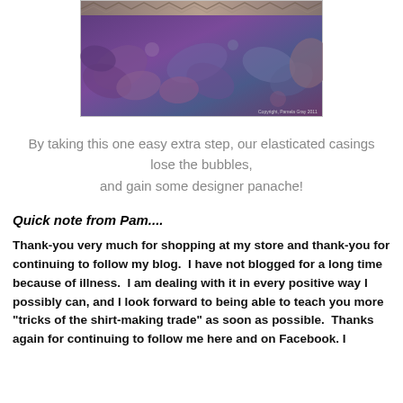[Figure (photo): Decorative fabric image with purple and blue floral/leaf pattern, with a trim along the top edge. Copyright watermark reads 'Copyright, Pamela Gray 2011'.]
By taking this one easy extra step, our elasticated casings lose the bubbles,
and gain some designer panache!
Quick note from Pam....
Thank-you very much for shopping at my store and thank-you for continuing to follow my blog.  I have not blogged for a long time because of illness.  I am dealing with it in every positive way I possibly can, and I look forward to being able to teach you more "tricks of the shirt-making trade" as soon as possible.  Thanks again for continuing to follow me here and on Facebook. I